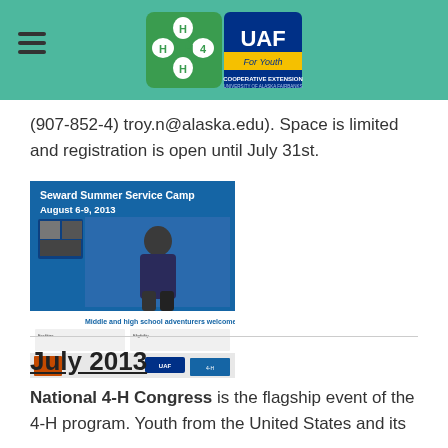UAF Cooperative Extension - For Youth (4-H) header with logo
(907-852-4) troy.n@alaska.edu). Space is limited and registration is open until July 31st.
[Figure (illustration): Seward Summer Service Camp flyer, August 6-9, 2013, showing a youth outdoors, with program details about middle and high school adventures welcome.]
July 2013
National 4-H Congress is the flagship event of the 4-H program. Youth from the United States and its